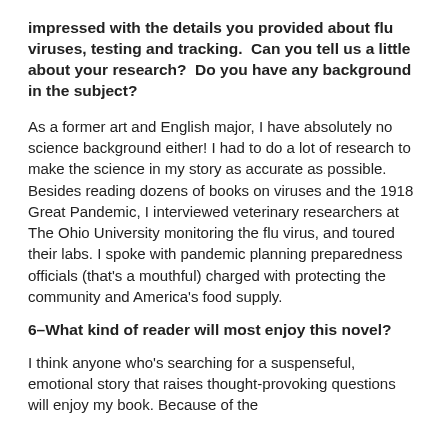impressed with the details you provided about flu viruses, testing and tracking.  Can you tell us a little about your research?  Do you have any background in the subject?
As a former art and English major, I have absolutely no science background either! I had to do a lot of research to make the science in my story as accurate as possible. Besides reading dozens of books on viruses and the 1918 Great Pandemic, I interviewed veterinary researchers at The Ohio University monitoring the flu virus, and toured their labs. I spoke with pandemic planning preparedness officials (that's a mouthful) charged with protecting the community and America's food supply.
6–What kind of reader will most enjoy this novel?
I think anyone who's searching for a suspenseful, emotional story that raises thought-provoking questions will enjoy my book. Because of the